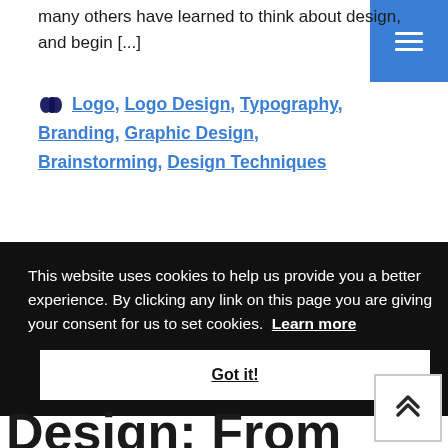many others have learned to think about design, and begin [...]
🧠 Logo, Logo Design, Typography, Branding, Graphic Design, Brainstorming, Design Techniques
This website uses cookies to help us provide you a better experience. By clicking any link on this page you are giving your consent for us to set cookies. Learn more
Got it!
Design: From